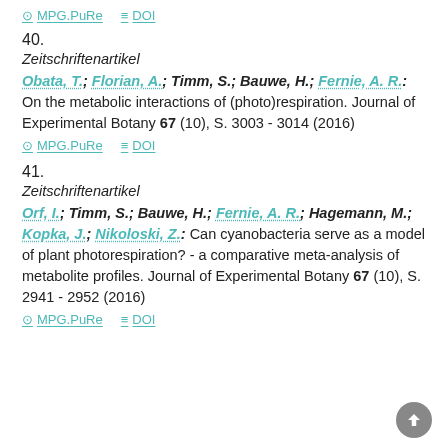MPG.PuRe   DOI
40.
Zeitschriftenartikel
Obata, T.; Florian, A.; Timm, S.; Bauwe, H.; Fernie, A. R.: On the metabolic interactions of (photo)respiration. Journal of Experimental Botany 67 (10), S. 3003 - 3014 (2016)
MPG.PuRe   DOI
41.
Zeitschriftenartikel
Orf, I.; Timm, S.; Bauwe, H.; Fernie, A. R.; Hagemann, M.; Kopka, J.; Nikoloski, Z.: Can cyanobacteria serve as a model of plant photorespiration? - a comparative meta-analysis of metabolite profiles. Journal of Experimental Botany 67 (10), S. 2941 - 2952 (2016)
MPG.PuRe   DOI